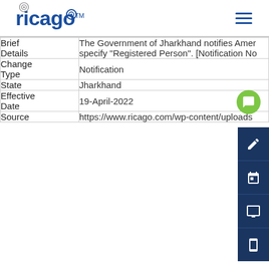ricago
| Field | Value |
| --- | --- |
| Brief Details | The Government of Jharkhand notifies Amer specify "Registered Person". [Notification No |
| Change Type | Notification |
| State | Jharkhand |
| Effective Date | 19-April-2022 |
| Source | https://www.ricago.com/wp-content/uploads |